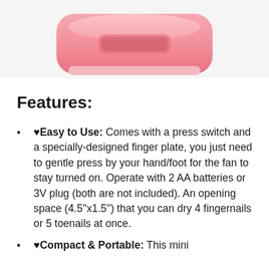[Figure (photo): Pink nail dryer fan device shown from above, partially cropped at top of page]
Features:
♥Easy to Use: Comes with a press switch and a specially-designed finger plate, you just need to gentle press by your hand/foot for the fan to stay turned on. Operate with 2 AA batteries or 3V plug (both are not included). An opening space (4.5''x1.5'') that you can dry 4 fingernails or 5 toenails at once.
♥Compact & Portable: This mini